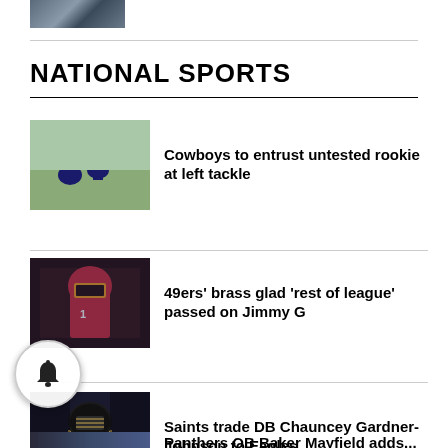[Figure (photo): Partial sports photo at top]
NATIONAL SPORTS
[Figure (photo): Cowboys players at practice, kneeling on field]
Cowboys to entrust untested rookie at left tackle
[Figure (photo): 49ers quarterback in red uniform]
49ers' brass glad 'rest of league' passed on Jimmy G
[Figure (photo): Saints player in black and gold uniform]
Saints trade DB Chauncey Gardner-Johnson to Eagles
[Figure (photo): Panthers partial photo at bottom]
Panthers QB Baker Mayfield adds...